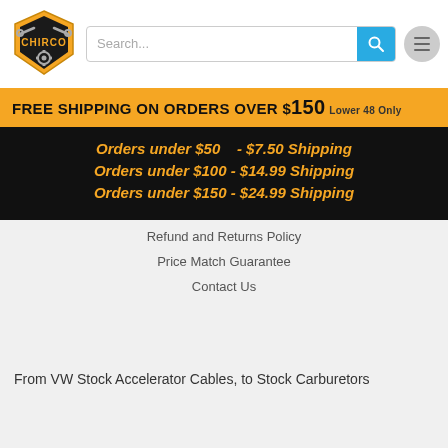[Figure (logo): Chirco auto parts logo with wrenches and gears]
Search...
FREE SHIPPING ON ORDERS OVER $150 Lower 48 Only
Orders under $50    - $7.50 Shipping
Orders under $100 - $14.99 Shipping
Orders under $150 - $24.99 Shipping
Refund and Returns Policy
Price Match Guarantee
Contact Us
From VW Stock Accelerator Cables, to Stock Carburetors